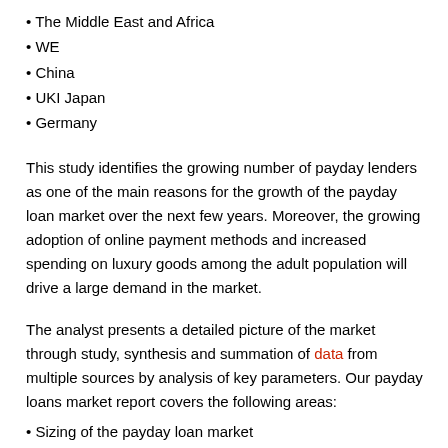• The Middle East and Africa
• WE
• China
• UKI Japan
• Germany
This study identifies the growing number of payday lenders as one of the main reasons for the growth of the payday loan market over the next few years. Moreover, the growing adoption of online payment methods and increased spending on luxury goods among the adult population will drive a large demand in the market.
The analyst presents a detailed picture of the market through study, synthesis and summation of data from multiple sources by analysis of key parameters. Our payday loans market report covers the following areas:
• Sizing of the payday loan market
• Payday loan market forecasts